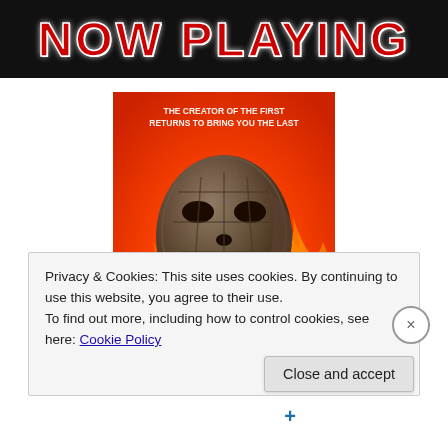NOW PLAYING
[Figure (photo): Movie poster for 'Jason Goes to Hell' showing a demonic skull/mask emerging from flames with text 'THE CREATOR OF THE FIRST RETURNS TO BRING YOU THE LAST' at the top and 'JASON GOES TO HELL' at the bottom]
Privacy & Cookies: This site uses cookies. By continuing to use this website, you agree to their use.
To find out more, including how to control cookies, see here: Cookie Policy